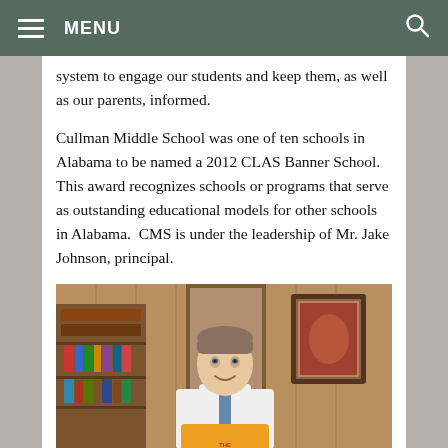MENU
system to engage our students and keep them, as well as our parents, informed.
Cullman Middle School was one of ten schools in Alabama to be named a 2012 CLAS Banner School. This award recognizes schools or programs that serve as outstanding educational models for other schools in Alabama.  CMS is under the leadership of Mr. Jake Johnson, principal.
[Figure (photo): A man in a white dress shirt and tie stands smiling in an office, holding an orange sign. Behind him are bookshelves and wood-paneled walls.]